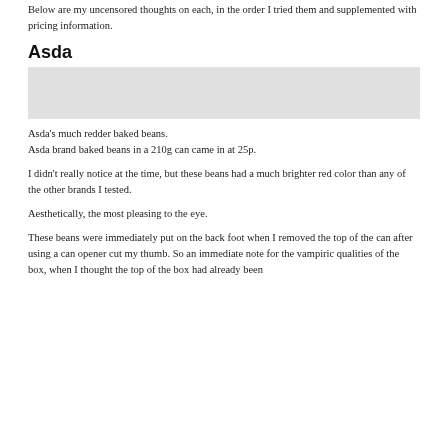Below are my uncensored thoughts on each, in the order I tried them and supplemented with pricing information.
Asda
[Figure (photo): Photo of Asda baked beans, showing a much redder color compared to other brands.]
Asda's much redder baked beans.
Asda brand baked beans in a 210g can came in at 25p.
I didn't really notice at the time, but these beans had a much brighter red color than any of the other brands I tested.
Aesthetically, the most pleasing to the eye.
These beans were immediately put on the back foot when I removed the top of the can after using a can opener cut my thumb. So an immediate note for the vampiric qualities of the box, when I thought the top of the box had already been